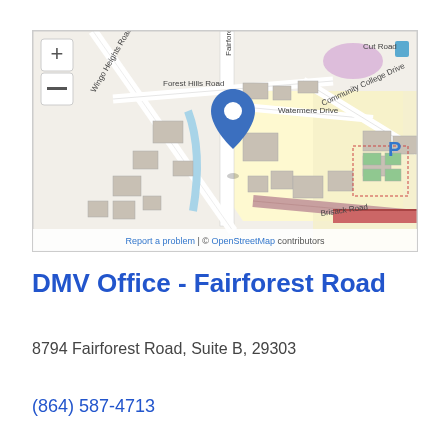[Figure (map): OpenStreetMap showing the location of DMV Office - Fairforest Road at 8794 Fairforest Road, Spartanburg SC. Map shows Fairforest Road, Wingo Heights Road, Forest Hills Road, Watermere Drive, Community College Drive, Brisack Road, and surrounding buildings. A blue location pin marks the DMV office. Map controls (+ and -) visible in upper left. Attribution reads: Report a problem | © OpenStreetMap contributors.]
DMV Office - Fairforest Road
8794 Fairforest Road, Suite B, 29303
(864) 587-4713